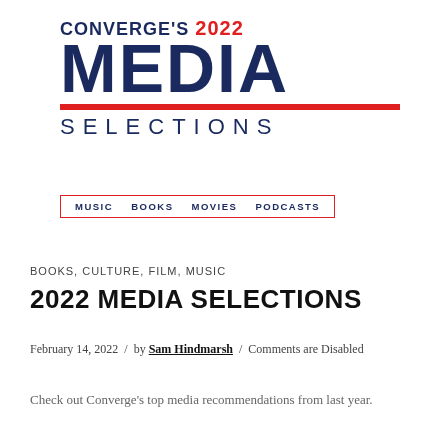CONVERGE'S 2022 MEDIA SELECTIONS
MUSIC   BOOKS   MOVIES   PODCASTS
BOOKS, CULTURE, FILM, MUSIC
2022 MEDIA SELECTIONS
February 14, 2022 / by Sam Hindmarsh / Comments are Disabled
Check out Converge's top media recommendations from last year.